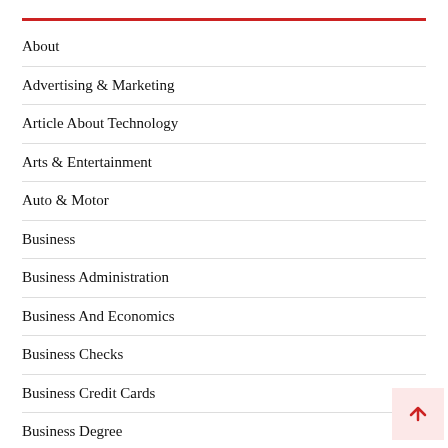About
Advertising & Marketing
Article About Technology
Arts & Entertainment
Auto & Motor
Business
Business Administration
Business And Economics
Business Checks
Business Credit Cards
Business Degree
Business Ethics
Business For Sale